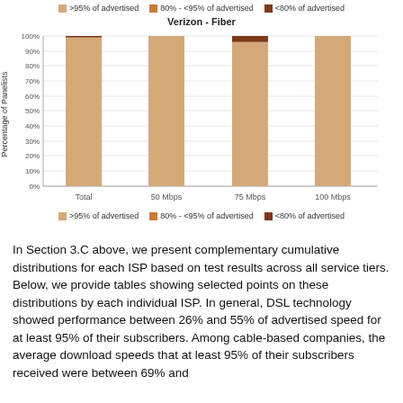[Figure (stacked-bar-chart): Verizon - Fiber]
In Section 3.C above, we present complementary cumulative distributions for each ISP based on test results across all service tiers. Below, we provide tables showing selected points on these distributions by each individual ISP. In general, DSL technology showed performance between 26% and 55% of advertised speed for at least 95% of their subscribers. Among cable-based companies, the average download speeds that at least 95% of their subscribers received were between 69% and